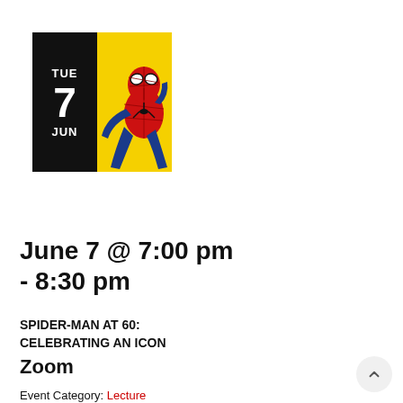[Figure (illustration): Calendar event thumbnail showing a black date block with TUE / 7 / JUN in white text on the left side and a classic Spider-Man comic art on a yellow background on the right side.]
June 7 @ 7:00 pm - 8:30 pm
SPIDER-MAN AT 60: CELEBRATING AN ICON
Zoom
Event Category: Lecture